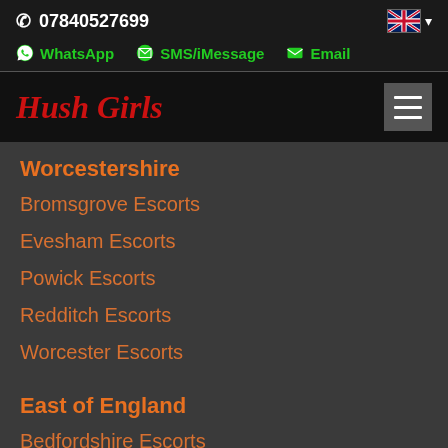07840527699
WhatsApp  SMS/iMessage  Email
Hush Girls
Worcestershire
Bromsgrove Escorts
Evesham Escorts
Powick Escorts
Redditch Escorts
Worcester Escorts
East of England
Bedfordshire Escorts
Cambridgeshire Escorts
Essex Escorts